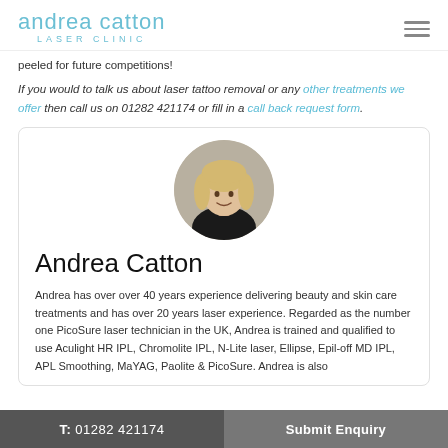andrea catton LASER CLINIC
peeled for future competitions!
If you would to talk us about laser tattoo removal or any other treatments we offer then call us on 01282 421174 or fill in a call back request form.
[Figure (photo): Circular portrait photo of Andrea Catton, a woman with blonde hair wearing a black top, smiling at the camera]
Andrea Catton
Andrea has over over 40 years experience delivering beauty and skin care treatments and has over 20 years laser experience. Regarded as the number one PicoSure laser technician in the UK, Andrea is trained and qualified to use Aculight HR IPL, Chromolite IPL, N-Lite laser, Ellipse, Epil-off MD IPL, APL Smoothing, MaYAG, Paolite & PicoSure. Andrea is also
T: 01282 421174   Submit Enquiry